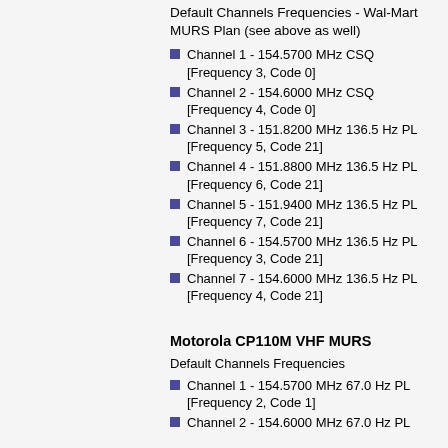Default Channels Frequencies - Wal-Mart MURS Plan (see above as well)
Channel 1 - 154.5700 MHz CSQ [Frequency 3, Code 0]
Channel 2 - 154.6000 MHz CSQ [Frequency 4, Code 0]
Channel 3 - 151.8200 MHz 136.5 Hz PL [Frequency 5, Code 21]
Channel 4 - 151.8800 MHz 136.5 Hz PL [Frequency 6, Code 21]
Channel 5 - 151.9400 MHz 136.5 Hz PL [Frequency 7, Code 21]
Channel 6 - 154.5700 MHz 136.5 Hz PL [Frequency 3, Code 21]
Channel 7 - 154.6000 MHz 136.5 Hz PL [Frequency 4, Code 21]
Motorola CP110M VHF MURS
Default Channels Frequencies
Channel 1 - 154.5700 MHz 67.0 Hz PL [Frequency 2, Code 1]
Channel 2 - 154.6000 MHz 67.0 Hz PL